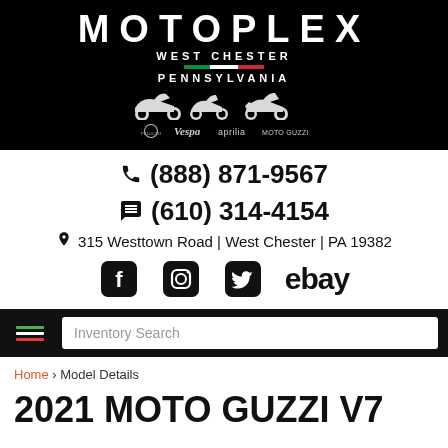[Figure (logo): Motoplex West Chester Pennsylvania dealer logo with brand silhouettes (Piaggio, Vespa, Aprilia, Moto Guzzi) on black background]
📞 (888) 871-9567
💬 (610) 314-4154
📍 315 Westtown Road | West Chester | PA 19382
[Figure (infographic): Social media icons: Facebook, Instagram, Twitter, eBay]
[Figure (infographic): Navigation bar with hamburger menu (Italian flag colored lines) and Inventory Search input box]
Home › Model Details
2021 MOTO GUZZI V7